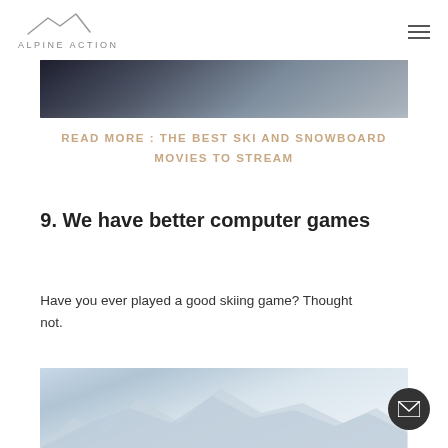ALPINE ACTION
[Figure (photo): Dark snowy ski action photo, top portion of image cropped at top of page]
READ MORE : THE BEST SKI AND SNOWBOARD MOVIES TO STREAM
9. We have better computer games
Have you ever played a good skiing game? Thought not.
[Figure (photo): Snow-covered mountain peaks with blue sky, alpine landscape photo]